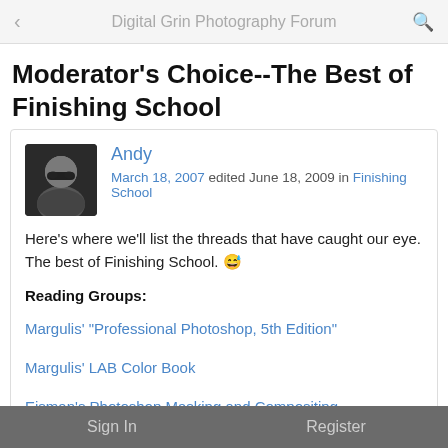Digital Grin Photography Forum
Moderator's Choice--The Best of Finishing School
Andy
March 18, 2007 edited June 18, 2009 in Finishing School
Here's where we'll list the threads that have caught our eye. The best of Finishing School. 😆
Reading Groups:
Margulis' "Professional Photoshop, 5th Edition"
Margulis' LAB Color Book
Eisman's Photoshop Masking and Compositing
Sign In    Register